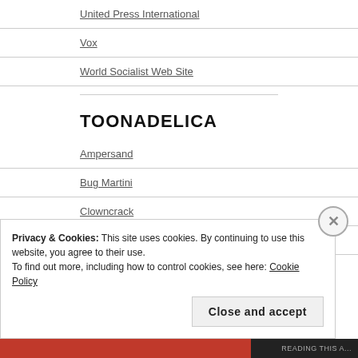United Press International
Vox
World Socialist Web Site
TOONADELICA
Ampersand
Bug Martini
Clowncrack
Danziger Cartoons
Privacy & Cookies: This site uses cookies. By continuing to use this website, you agree to their use.
To find out more, including how to control cookies, see here: Cookie Policy
Close and accept